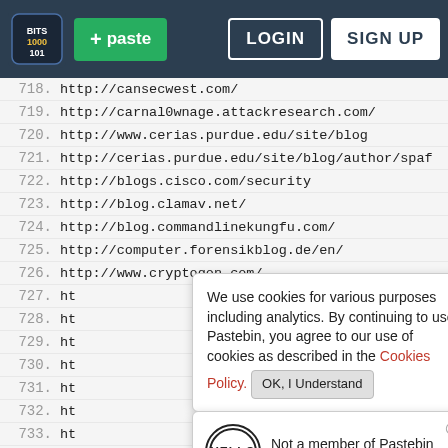[Figure (screenshot): Pastebin website navigation bar with logo, paste button, login and sign up buttons]
718. http://cansecwest.com/
719. http://carnal0wnage.attackresearch.com/
720. http://www.cerias.purdue.edu/site/blog
721. http://cerias.purdue.edu/site/blog/author/spaf
722. http://blogs.cisco.com/security
723. http://blog.clamav.net/
724. http://blog.commandlinekungfu.com/
725. http://computer.forensikblog.de/en/
726. http://www.cryptogon.com/
727. ht
728. ht
729. ht
730. ht
731. ht
732. ht
733. ht
734. http://darkreading.com/
We use cookies for various purposes including analytics. By continuing to use Pastebin, you agree to our use of cookies as described in the Cookies Policy. OK, I Understand
Not a member of Pastebin yet? Sign Up, it unlocks many cool features!